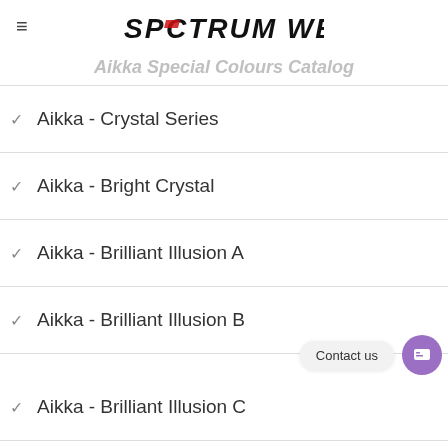SPECTRUM WERKS
Aikka Special Colours Catalog
Aikka - Crystal Series
Aikka - Bright Crystal
Aikka - Brilliant Illusion A
Aikka - Brilliant Illusion B
Aikka - Brilliant Illusion C